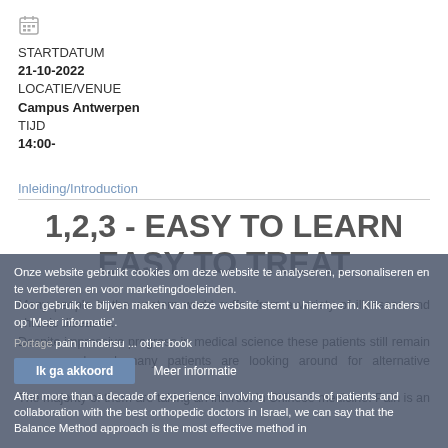[Figure (other): Calendar icon]
STARTDATUM
21-10-2022
LOCATIE/VENUE
Campus Antwerpen
TIJD
14:00-
Inleiding/Introduction
1,2,3 - EASY TO LEARN EASY TO TREAT
Many people in the western world suffer from a variety of illnesses and chronic diseases.
Despite impressive progress in medical science these patients still remain unanswered and many patients are looking around for alternative solutions.
The majority of them are taking an interest in Chinese medicine. Pain is an important part of this picture. Many patients are suffering from daily pain in the western world.
After more than a decade of experience involving thousands of patients and collaboration with the best orthopedic doctors in Israel, we can say that the Balance Method approach is the most effective method in
Onze website gebruikt cookies om deze website te analyseren, personaliseren en te verbeteren en voor marketingdoeleinden.
Door gebruik te blijven maken van deze website stemt u hiermee in. Klik anders op 'Meer informatie'.